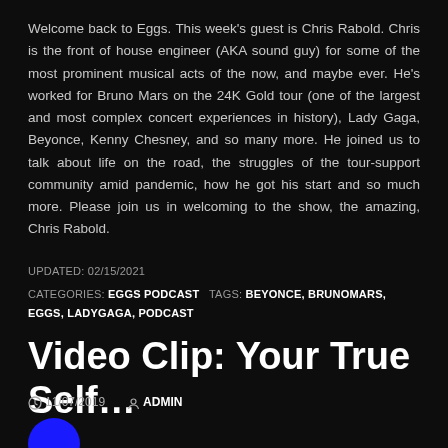Welcome back to Eggs. This week's guest is Chris Rabold. Chris is the front of house engineer (AKA sound guy) for some of the most prominent musical acts of the now, and maybe ever. He's worked for Bruno Mars on the 24K Gold tour (one of the largest and most complex concert experiences in history), Lady Gaga, Beyonce, Kenny Chesney, and so many more. He joined us to talk about life on the road, the struggles of the tour-support community amid pandemic, how he got his start and so much more. Please join us in welcoming to the show, the amazing, Chris Rabold.
UPDATED: 02/15/2021
CATEGORIES: EGGS PODCAST   TAGS: BEYONCE, BRUNOMARS, EGGS, LADYGAGA, PODCAST
Video Clip: Your True Self…
11/07/2019  ADMIN